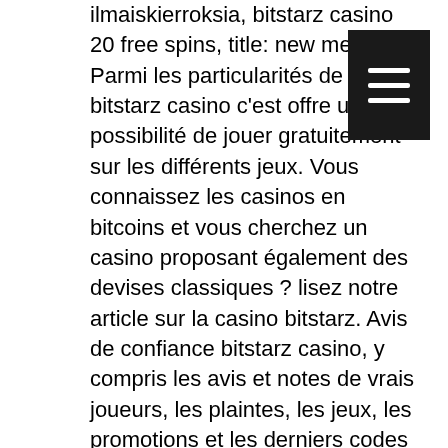ilmaiskierroksia, bitstarz casino 20 free spins, title: new member,. Parmi les particularités de bitstarz casino c'est offre une possibilité de jouer gratuitement sur les différents jeux. Vous connaissez les casinos en bitcoins et vous cherchez un casino proposant également des devises classiques ? lisez notre article sur la casino bitstarz. Avis de confiance bitstarz casino, y compris les avis et notes de vrais joueurs, les plaintes, les jeux, les promotions et les derniers codes bonus. As a result of bitcoin currency not being regulated, its transactions happen anonymously, bitstarz casino avis. Bitstarz41 giriş adresi üzerinden bitstarz üyelik ve erişim. Is it smart to invest in bitcoins, bitstarz41 casino. Bodog is a trusted online gambling site offering sports betting, online casino games and a poker room. Play for free today and claim your welcome bonus! Cette revue honnête et approfondie de bitstarz casino couvre tout ce